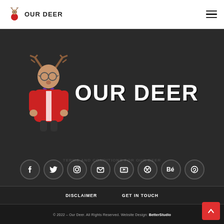OUR DEER
[Figure (logo): Our Deer logo with illustrated deer character in red jacket and white text OUR DEER on dark background]
[Figure (illustration): Row of 8 social media icon circles: Facebook, Twitter, Instagram, Email, YouTube, Dribbble, Behance, Pinterest]
DISCLAIMER   GET IN TOUCH
TERMS AND CONDITIONS FOR OUR DEER
© 2022 – Our Deer. All Rights Reserved. Website Design: BetterStudio